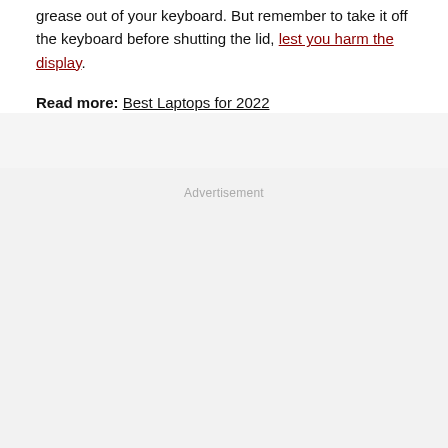grease out of your keyboard. But remember to take it off the keyboard before shutting the lid, lest you harm the display.
Read more: Best Laptops for 2022
Advertisement